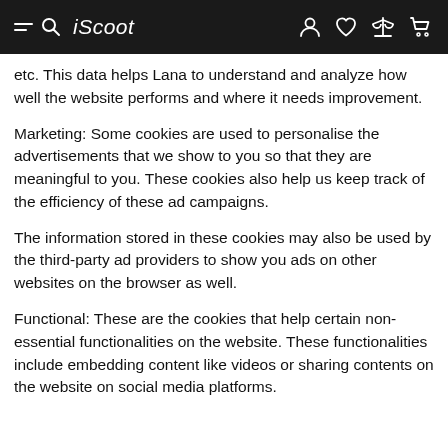iScoot
etc. This data helps Lana to understand and analyze how well the website performs and where it needs improvement.
Marketing: Some cookies are used to personalise the advertisements that we show to you so that they are meaningful to you. These cookies also help us keep track of the efficiency of these ad campaigns.
The information stored in these cookies may also be used by the third-party ad providers to show you ads on other websites on the browser as well.
Functional: These are the cookies that help certain non-essential functionalities on the website. These functionalities include embedding content like videos or sharing contents on the website on social media platforms.